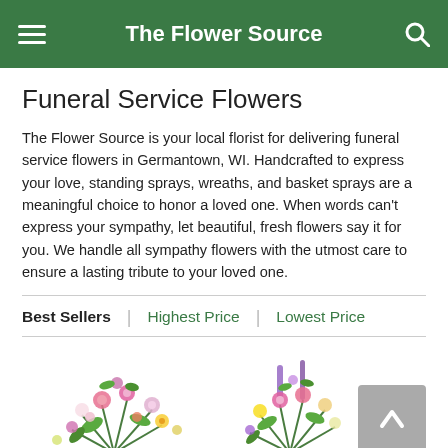The Flower Source
Funeral Service Flowers
The Flower Source is your local florist for delivering funeral service flowers in Germantown, WI. Handcrafted to express your love, standing sprays, wreaths, and basket sprays are a meaningful choice to honor a loved one. When words can't express your sympathy, let beautiful, fresh flowers say it for you. We handle all sympathy flowers with the utmost care to ensure a lasting tribute to your loved one.
Best Sellers
Highest Price
Lowest Price
[Figure (photo): Flower arrangement product images, two arrangements visible at bottom of page]